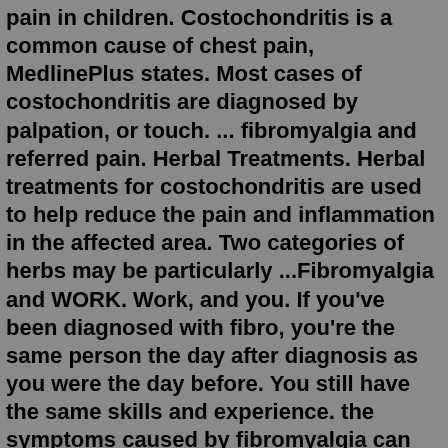pain in children. Costochondritis is a common cause of chest pain, MedlinePlus states. Most cases of costochondritis are diagnosed by palpation, or touch. ... fibromyalgia and referred pain. Herbal Treatments. Herbal treatments for costochondritis are used to help reduce the pain and inflammation in the affected area. Two categories of herbs may be particularly ...Fibromyalgia and WORK. Work, and you. If you've been diagnosed with fibro, you're the same person the day after diagnosis as you were the day before. You still have the same skills and experience. the symptoms caused by fibromyalgia can vary and fluctuate over time and this can be a challenge at work.Especially if you have fibromyalgia because costochondritis pain is a common 'symptom'. The following tips can help you take the edge off the disabling costochondritis pain spikes when it flares, and help you heal faster and get back to your normal routine. Quick tips for a costo flare.It has been shown that massage can be particularly effective at lowering pain in osteoarthritis and Fibromyalgia. An analysis